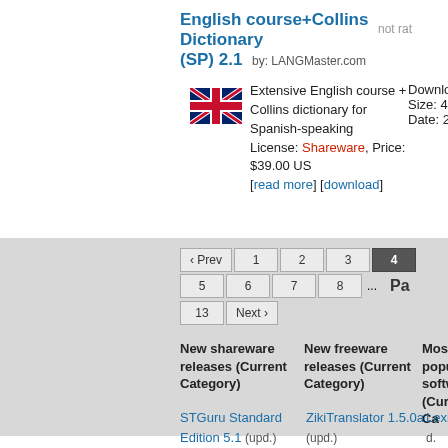English course+Collins Dictionary (SP) 2.1 by: LANGMaster.com
not rated
Extensive English course + Collins dictionary for Spanish-speaking
License: Shareware, Price: $39.00 US
[read more] [download]
Downloads: 1
Size: 411616
Date: 2010-0
‹ Prev  1  2  3  4  5  6  7  8  ...  13  Next ›  Pa
New shareware releases (Current Category)
New freeware releases (Current Category)
Most popular software (Current Cate
STGuru Standard Edition 5.1 (upd.)
Adept Translator Pro 3.10 (upd.)
Random Word
ZikiTranslator 1.5.0a (upd.) ZC Trigram Generator 1.1 (upd.)
WordQuiz
Lexis Rex ( 1.6.0 (339 d.
WordQuiz 2012.11.14
Free Spanis
English Col